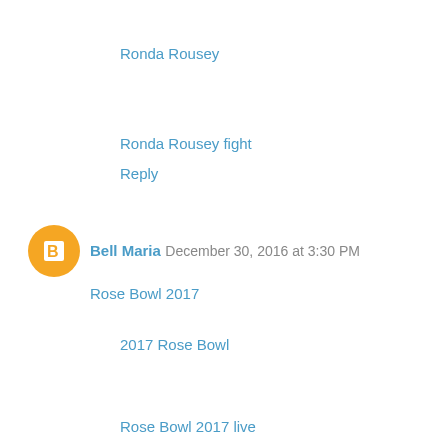Ronda Rousey
Ronda Rousey fight
Reply
Bell Maria  December 30, 2016 at 3:30 PM
Rose Bowl 2017
2017 Rose Bowl
Rose Bowl 2017 live